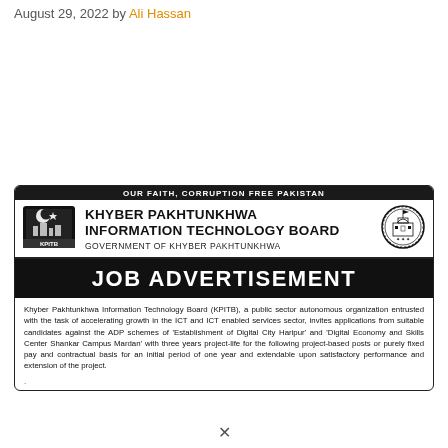August 29, 2022 by Ali Hassan
[Figure (infographic): Job advertisement image for Khyber Pakhtunkhwa Information Technology Board (KPITB), Government of Khyber Pakhtunkhwa. Contains the organization logo and seal, a black banner reading 'JOB ADVERTISEMENT', and body text describing that KPITB invites applications for project-based posts under ADP schemes for Digital City Haripur and Digital Economy and Skills Center Shankar Campus Mardan.]
Khyber Pakhtunkhwa Information Technology Board (KPITB), a public sector autonomous organization entrusted with the task of accelerating growth in the ICT and ICT enabled services sector, invites applications from suitable candidates against the ADP schemes of 'Establishment of Digital City Haripur' and 'Digital Economy and Skills Center Shankar Campus Mardan' with three years project-life for the following project-based posts or purely fixed pay and contractual basis for an initial period of one year and extendable upon satisfactory performance and extension of the project.